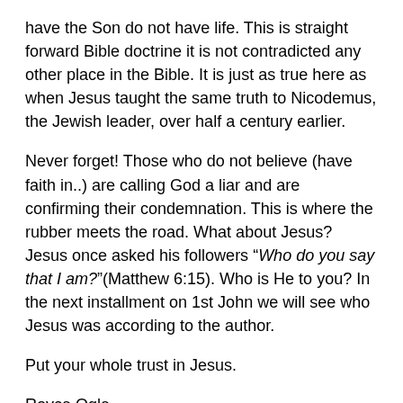have the Son do not have life. This is straight forward Bible doctrine it is not contradicted any other place in the Bible. It is just as true here as when Jesus taught the same truth to Nicodemus, the Jewish leader, over half a century earlier.
Never forget! Those who do not believe (have faith in..) are calling God a liar and are confirming their condemnation. This is where the rubber meets the road. What about Jesus? Jesus once asked his followers “Who do you say that I am?”(Matthew 6:15). Who is He to you? In the next installment on 1st John we will see who Jesus was according to the author.
Put your whole trust in Jesus.
Royce Ogle